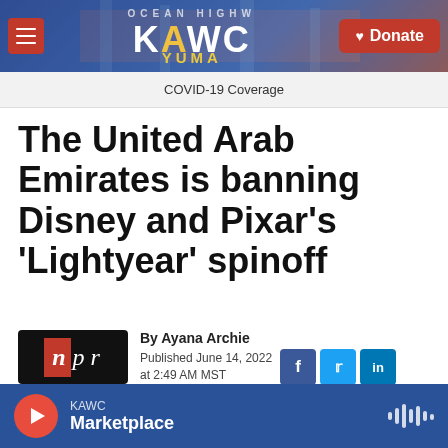KAWC — COVID-19 Coverage — Donate
The United Arab Emirates is banning Disney and Pixar's 'Lightyear' spinoff
By Ayana Archie
Published June 14, 2022 at 2:49 AM MST
[Figure (logo): NPR logo]
KAWC Marketplace